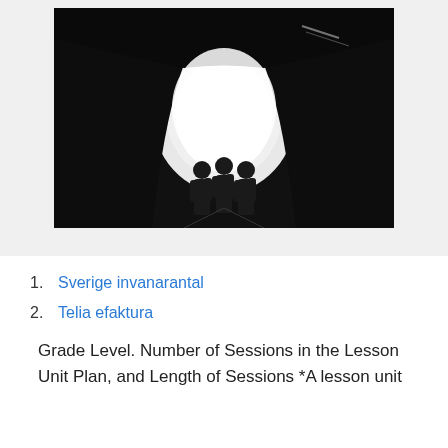[Figure (photo): Black and white photograph of three silhouetted figures standing at the bright opening of a dark tunnel]
Sverige invanarantal
Telia efaktura
Grade Level. Number of Sessions in the Lesson Unit Plan, and Length of Sessions *A lesson unit